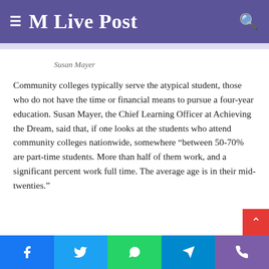M Live Post
Susan Mayer
Community colleges typically serve the atypical student, those who do not have the time or financial means to pursue a four-year education. Susan Mayer, the Chief Learning Officer at Achieving the Dream, said that, if one looks at the students who attend community colleges nationwide, somewhere “between 50-70% are part-time students. More than half of them work, and a significant percent work full time. The average age is in their mid-twenties.”
Facebook Twitter WhatsApp Telegram Phone